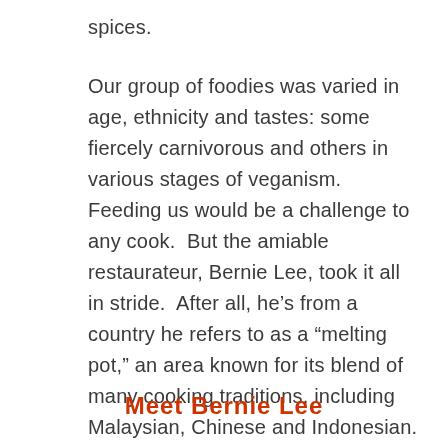spices.
Our group of foodies was varied in age, ethnicity and tastes: some fiercely carnivorous and others in various stages of veganism.  Feeding us would be a challenge to any cook.  But the amiable restaurateur, Bernie Lee, took it all in stride.  After all, he’s from a country he refers to as a “melting pot,” an area known for its blend of many cooking traditions, including Malaysian, Chinese and Indonesian.
Meet Bernie Lee